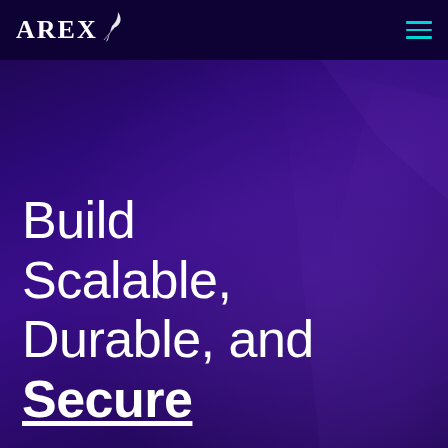[Figure (logo): AREX logo with feather/quill icon in white on dark navy background, top left of navigation bar]
AREX
Build Scalable, Durable, and Secure